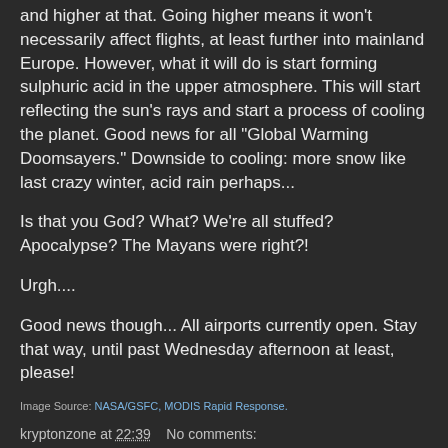and higher at that. Going higher means it won't necessarily affect flights, at least further into mainland Europe. However, what it will do is start forming sulphuric acid in the upper atmosphere. This will start reflecting the sun's rays and start a process of cooling the planet. Good news for all "Global Warming Doomsayers." Downside to cooling: more snow like last crazy winter, acid rain perhaps...
Is that you God? What? We're all stuffed? Apocalypse? The Mayans were right?!
Urgh....
Good news though... All airports currently open. Stay that way, until past Wednesday afternoon at least, please!
Image Source: NASA/GSFC, MODIS Rapid Response.
kryptonzone at 22:39    No comments:
Share